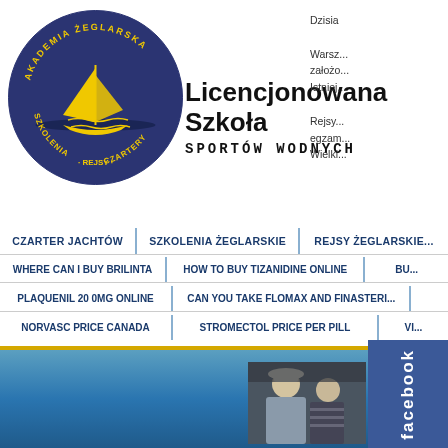[Figure (logo): Akademia Żeglarska circular logo with dark blue background, yellow sailboat, text: AKADEMIA ŻEGLARSKA, SZKOLENIA, REJSY, CZARTERY]
Licencjonowana Szkoła SPORTÓW WODNYCH
Dzisia...
Warsz... założo... Istniej...
Rejsy... egzam... Wielki...
CZARTER JACHTÓW
SZKOLENIA ŻEGLARSKIE
REJSY ŻEGLARSKIE
WHERE CAN I BUY BRILINTA
HOW TO BUY TIZANIDINE ONLINE
BU...
PLAQUENIL 20 0MG ONLINE
CAN YOU TAKE FLOMAX AND FINASTERIDE
NORVASC PRICE CANADA
STROMECTOL PRICE PER PILL
VI...
[Figure (photo): Two people in a boat cabin, one wearing a white hat]
[Figure (logo): Facebook badge/button]